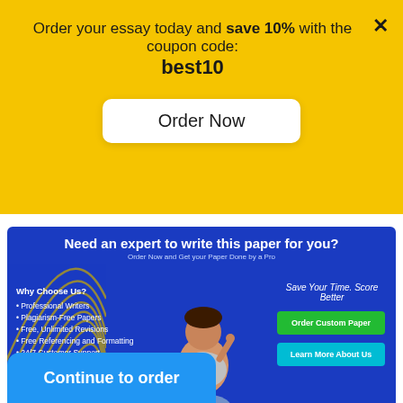Order your essay today and save 10% with the coupon code: best10
[Figure (other): Yellow promotional banner with Order Now button and close X]
[Figure (infographic): Blue ad banner: Need an expert to write this paper for you? Why Choose Us? Professional Writers, Plagiarism-Free Papers, Free Unlimited Revisions, Free Referencing and Formatting, 24/7 Customer Support. Save Your Time. Score Better. Order Custom Paper and Learn More About Us buttons. Student sitting with books illustration.]
Continue to order